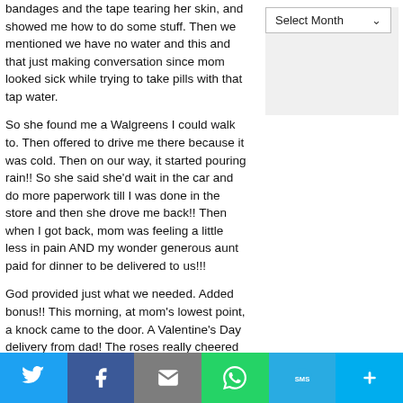bandages and the tape tearing her skin, and showed me how to do some stuff. Then we mentioned we have no water and this and that just making conversation since mom looked sick while trying to take pills with that tap water.
So she found me a Walgreens I could walk to. Then offered to drive me there because it was cold. Then on our way, it started pouring rain!! So she said she'd wait in the car and do more paperwork till I was done in the store and then she drove me back!! Then when I got back, mom was feeling a little less in pain AND my wonder generous aunt paid for dinner to be delivered to us!!!
God provided just what we needed. Added bonus!! This morning, at mom's lowest point, a knock came to the door. A Valentine's Day delivery from dad! The roses really cheered her up. God always has perfect timing. Even when we don't understand.
[Figure (screenshot): Select Month dropdown selector in sidebar]
[Figure (infographic): Social sharing bar with Twitter, Facebook, Email, WhatsApp, SMS, and More buttons]